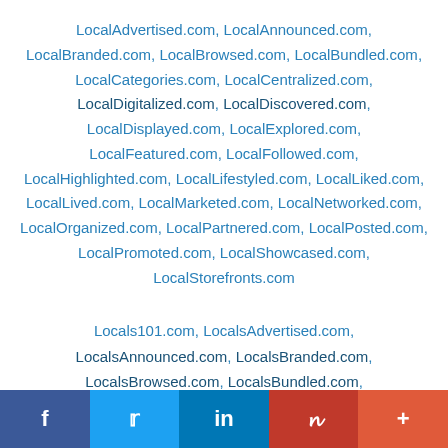LocalAdvertised.com, LocalAnnounced.com, LocalBranded.com, LocalBrowsed.com, LocalBundled.com, LocalCategories.com, LocalCentralized.com, LocalDigitalized.com, LocalDiscovered.com, LocalDisplayed.com, LocalExplored.com, LocalFeatured.com, LocalFollowed.com, LocalHighlighted.com, LocalLifestyled.com, LocalLiked.com, LocalLived.com, LocalMarketed.com, LocalNetworked.com, LocalOrganized.com, LocalPartnered.com, LocalPosted.com, LocalPromoted.com, LocalShowcased.com, LocalStorefronts.com
Locals101.com, LocalsAdvertised.com, LocalsAnnounced.com, LocalsBranded.com, LocalsBrowsed.com, LocalsBundled.com, LocalsCategories.com, LocalsCentralized.com
f  Twitter  in  P  +